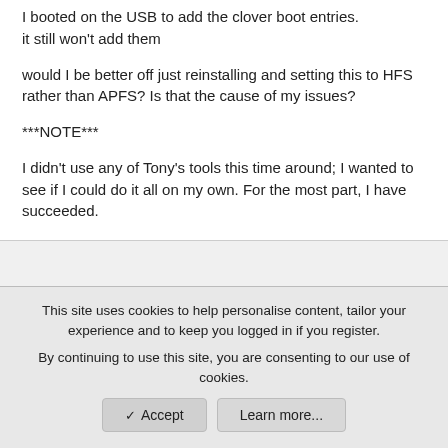I booted on the USB to add the clover boot entries. it still won't add them
would I be better off just reinstalling and setting this to HFS rather than APFS? Is that the cause of my issues?
***NOTE***
I didn't use any of Tony's tools this time around; I wanted to see if I could do it all on my own. For the most part, I have succeeded.
This site uses cookies to help personalise content, tailor your experience and to keep you logged in if you register. By continuing to use this site, you are consenting to our use of cookies.
✓ Accept   Learn more...